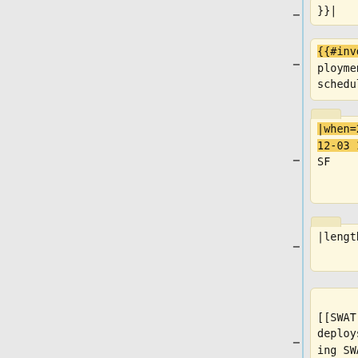}}|
{{#invoke:Deployment schedule|row
|when=2019-12-03 16:00 SF
|length=1
|window=[[SWAT deploys|Evening SWAT]]
<br/>
<small>'''(Max 6 patches)'''<